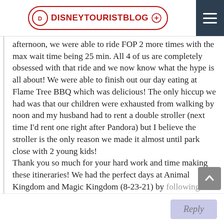DISNEYTOURISTBLOG
afternoon, we were able to ride FOP 2 more times with the max wait time being 25 min. All 4 of us are completely obsessed with that ride and we now know what the hype is all about! We were able to finish out our day eating at Flame Tree BBQ which was delicious! The only hiccup we had was that our children were exhausted from walking by noon and my husband had to rent a double stroller (next time I’d rent one right after Pandora) but I believe the stroller is the only reason we made it almost until park close with 2 young kids!
Thank you so much for your hard work and time making these itineraries! We had the perfect days at Animal Kingdom and Magic Kingdom (8-23-21) by following your advice!
Reply